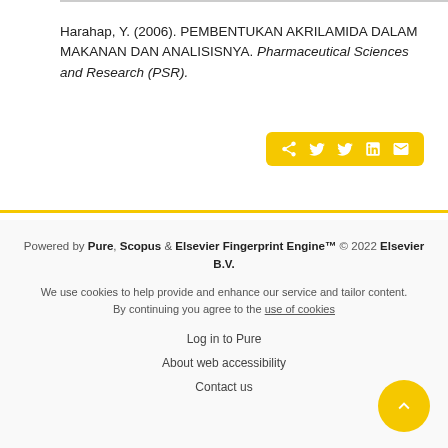Harahap, Y. (2006). PEMBENTUKAN AKRILAMIDA DALAM MAKANAN DAN ANALISISNYA. Pharmaceutical Sciences and Research (PSR).
[Figure (other): Social share button bar with icons for share, Facebook, Twitter, LinkedIn, and email on a yellow background]
Powered by Pure, Scopus & Elsevier Fingerprint Engine™ © 2022 Elsevier B.V.
We use cookies to help provide and enhance our service and tailor content. By continuing you agree to the use of cookies
Log in to Pure
About web accessibility
Contact us